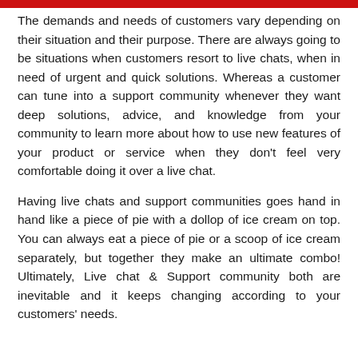The demands and needs of customers vary depending on their situation and their purpose. There are always going to be situations when customers resort to live chats, when in need of urgent and quick solutions. Whereas a customer can tune into a support community whenever they want deep solutions, advice, and knowledge from your community to learn more about how to use new features of your product or service when they don't feel very comfortable doing it over a live chat.
Having live chats and support communities goes hand in hand like a piece of pie with a dollop of ice cream on top. You can always eat a piece of pie or a scoop of ice cream separately, but together they make an ultimate combo! Ultimately, Live chat & Support community both are inevitable and it keeps changing according to your customers' needs.